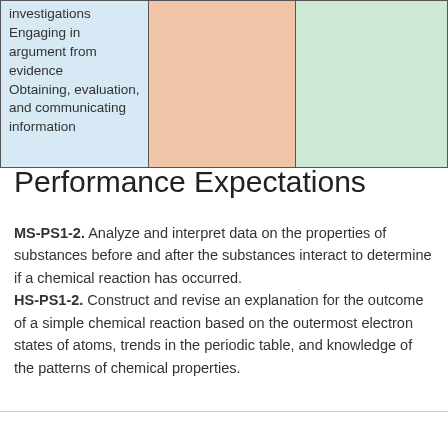|  |  |  |
| --- | --- | --- |
| investigations
Engaging in argument from evidence
Obtaining, evaluation, and communicating information |  |  |
Performance Expectations
MS-PS1-2. Analyze and interpret data on the properties of substances before and after the substances interact to determine if a chemical reaction has occurred.
HS-PS1-2. Construct and revise an explanation for the outcome of a simple chemical reaction based on the outermost electron states of atoms, trends in the periodic table, and knowledge of the patterns of chemical properties.